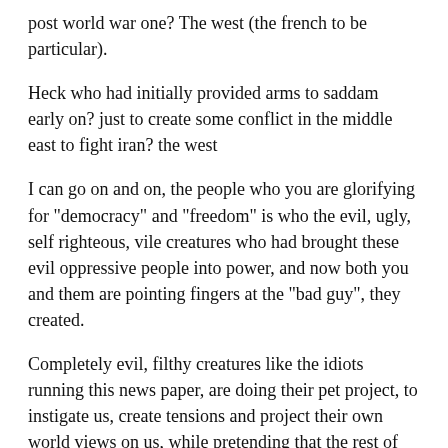post world war one? The west (the french to be particular).
Heck who had initially provided arms to saddam early on? just to create some conflict in the middle east to fight iran? the west
I can go on and on, the people who you are glorifying for "democracy" and "freedom" is who the evil, ugly, self righteous, vile creatures who had brought these evil oppressive people into power, and now both you and them are pointing fingers at the "bad guy", they created.
Completely evil, filthy creatures like the idiots running this news paper, are doing their pet project, to instigate us, create tensions and project their own world views on us, while pretending that the rest of the world cannot survive without aid from the